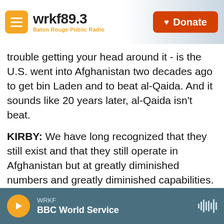wrkf89.3 Baton Rouge Public Radio | Donate
trouble getting your head around it - is the U.S. went into Afghanistan two decades ago to get bin Laden and to beat al-Qaida. And it sounds like 20 years later, al-Qaida isn't beat.
KIRBY: We have long recognized that they still exist and that they still operate in Afghanistan but at greatly diminished numbers and greatly diminished capabilities. And our goal is to make sure that they can't attack the United States from Afghanistan again. And that's why we're working so hard on these over-the-horizon counterterrorism capabilities.
WRKF | BBC World Service